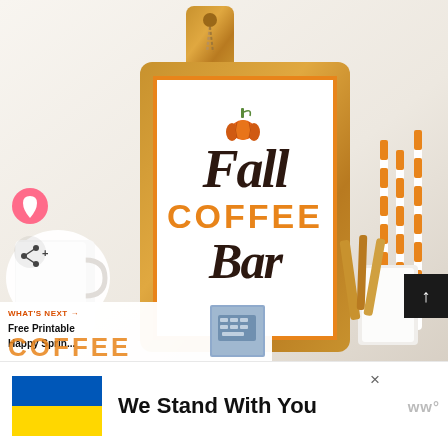[Figure (photo): A wooden cutting board with a 'Fall Coffee Bar' printable sign featuring a pumpkin graphic, placed in a styled autumn coffee bar scene with white mugs, wooden utensils, and orange striped straws]
WHAT'S NEXT →
Free Printable Happy Sprin...
COFFEE
We Stand With You
[Figure (logo): Wordmark logo 'ww' in grey]